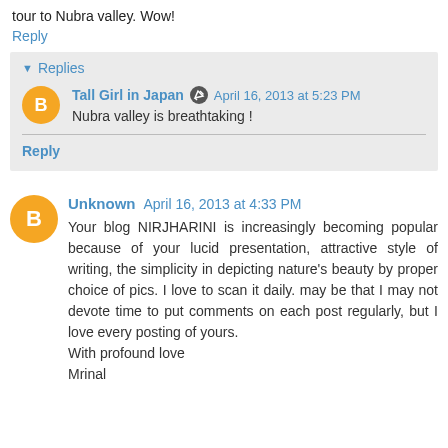tour to Nubra valley. Wow!
Reply
Replies
Tall Girl in Japan   April 16, 2013 at 5:23 PM
Nubra valley is breathtaking !
Reply
Unknown   April 16, 2013 at 4:33 PM
Your blog NIRJHARINI is increasingly becoming popular because of your lucid presentation, attractive style of writing, the simplicity in depicting nature's beauty by proper choice of pics. I love to scan it daily. may be that I may not devote time to put comments on each post regularly, but I love every posting of yours.
With profound love
Mrinal